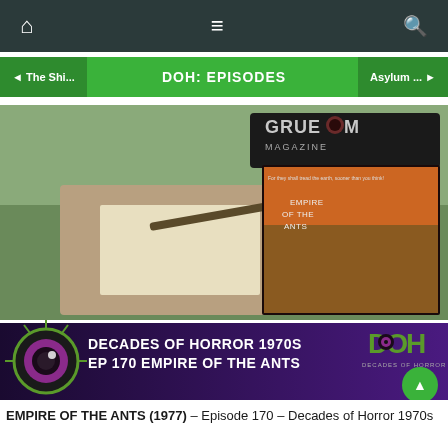Navigation bar with home, menu, and search icons
◄ The Shi...   DOH: EPISODES   Asylum ... ►
[Figure (photo): Composite image showing a scene from Empire of the Ants (man fighting giant ant), Gruesome Magazine cover overlay, movie poster for Empire of the Ants, and a banner reading DECADES OF HORROR 1970S EP 170 EMPIRE OF THE ANTS with DOH logo and eyeball graphic]
EMPIRE OF THE ANTS (1977) – Episode 170 – Decades of Horror 1970s